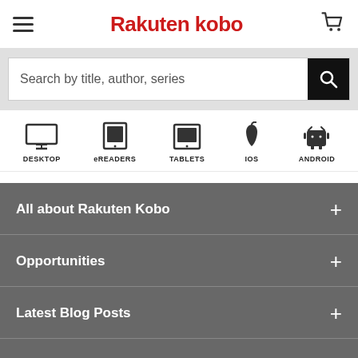Rakuten kobo
Search by title, author, series
[Figure (infographic): Device icons row: DESKTOP, eREADERS, TABLETS, IOS, ANDROID]
All about Rakuten Kobo
Opportunities
Latest Blog Posts
Stay Connected